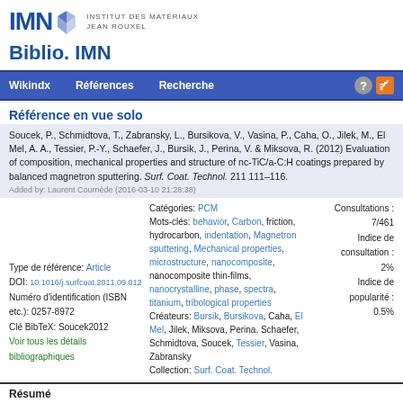[Figure (logo): IMN Institut des Matériaux Jean Rouxel logo with geometric diamond shapes in blue/gray]
Biblio. IMN
Wikindx   Références   Recherche
Référence en vue solo
Soucek, P., Schmidtova, T., Zabransky, L., Bursikova, V., Vasina, P., Caha, O., Jilek, M., El Mel, A. A., Tessier, P.-Y., Schaefer, J., Bursik, J., Perina, V. & Miksova, R. (2012) Evaluation of composition, mechanical properties and structure of nc-TiC/a-C:H coatings prepared by balanced magnetron sputtering. Surf. Coat. Technol. 211 111–116.
Added by: Laurent Cournède (2016-03-10 21:28:38)
Type de référence: Article
DOI: 10.1016/j.surfcoat.2011.09.012
Numéro d'identification (ISBN etc.): 0257-8972
Clé BibTeX: Soucek2012
Voir tous les détails bibliographiques
Catégories: PCM
Mots-clés: behavior, Carbon, friction, hydrocarbon, indentation, Magnetron sputtering, Mechanical properties, microstructure, nanocomposite, nanocomposite thin-films, nanocrystalline, phase, spectra, titanium, tribological properties
Créateurs: Bursik, Bursikova, Caha, El Mel, Jilek, Miksova, Perina, Schaefer, Schmidtova, Soucek, Tessier, Vasina, Zabransky
Collection: Surf. Coat. Technol.
Consultations : 7/461
Indice de consultation : 2%
Indice de popularité : 0.5%
Résumé